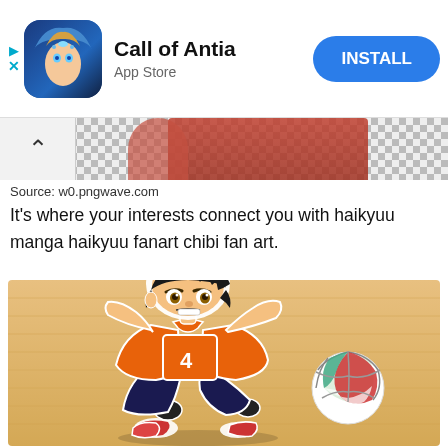[Figure (screenshot): App Store advertisement for 'Call of Antia' with app icon showing animated female character, app name, 'App Store' label, and blue INSTALL button]
[Figure (photo): Partially visible banner image with anime/manga character and checkered transparent background, with up-arrow navigation button on left]
Source: w0.pngwave.com
It's where your interests connect you with haikyuu manga haikyuu fanart chibi fan art.
[Figure (illustration): Chibi anime illustration of a volleyball player wearing orange uniform #4, diving to hit a volleyball, on a wooden floor background]